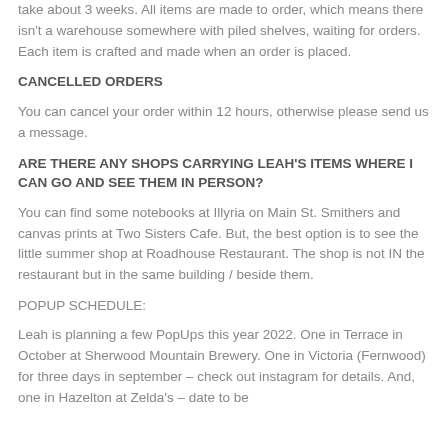take about 3 weeks. All items are made to order, which means there isn't a warehouse somewhere with piled shelves, waiting for orders. Each item is crafted and made when an order is placed.
CANCELLED ORDERS
You can cancel your order within 12 hours, otherwise please send us a message.
ARE THERE ANY SHOPS CARRYING LEAH'S ITEMS WHERE I CAN GO AND SEE THEM IN PERSON?
You can find some notebooks at Illyria on Main St. Smithers and canvas prints at Two Sisters Cafe. But, the best option is to see the little summer shop at Roadhouse Restaurant. The shop is not IN the restaurant but in the same building / beside them.
POPUP SCHEDULE:
Leah is planning a few PopUps this year 2022. One in Terrace in October at Sherwood Mountain Brewery. One in Victoria (Fernwood) for three days in september – check out instagram for details. And, one in Hazelton at Zelda's – date to be